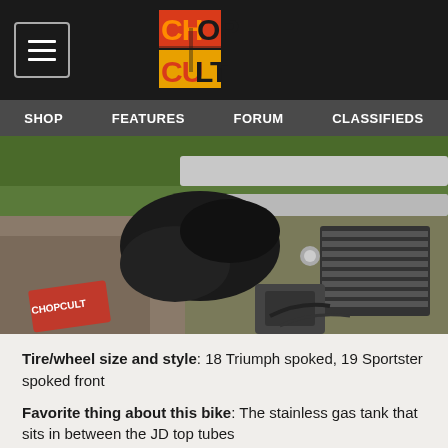CHOP CULT — SHOP | FEATURES | FORUM | CLASSIFIEDS
[Figure (photo): Overhead view of a custom motorcycle showing a black solo seat, silver frame rails, engine with fins, and carburetor, photographed from above on a gravel/grass surface with a ChopCult logo watermark in the lower left corner.]
Tire/wheel size and style: 18 Triumph spoked, 19 Sportster spoked front
Favorite thing about this bike:  The stainless gas tank that sits in between the JD top tubes
Next modification will be: Working on a mechanical advance